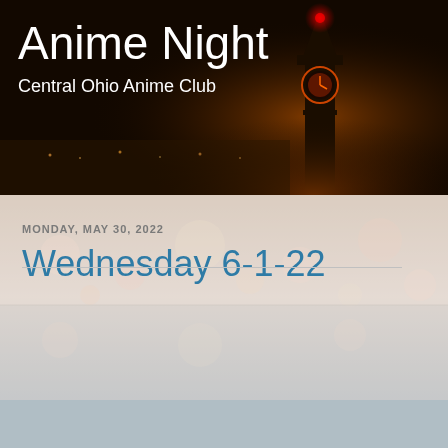[Figure (illustration): Dark night scene with a glowing clock tower illuminated in orange/red light against a dark background, with a cityscape visible in the distance]
Anime Night
Central Ohio Anime Club
[Figure (photo): Misty cityscape at night with blurred bokeh lights and a reflective water surface, light pinkish-gray tones]
MONDAY, MAY 30, 2022
Wednesday 6-1-22